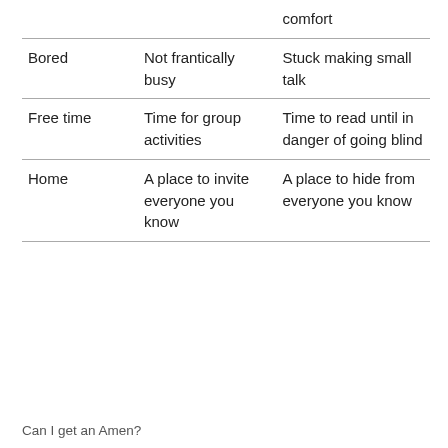|  |  | comfort |
| Bored | Not frantically busy | Stuck making small talk |
| Free time | Time for group activities | Time to read until in danger of going blind |
| Home | A place to invite everyone you know | A place to hide from everyone you know |
Can I get an Amen?